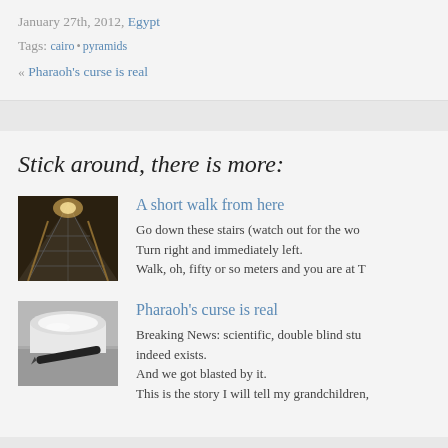January 27th, 2012, Egypt
Tags: cairo • pyramids
« Pharaoh's curse is real
Stick around, there is more:
[Figure (photo): Staircase going down in a dark interior space with wooden railings and people at the bottom]
A short walk from here
Go down these stairs (watch out for the wo... Turn right and immediately left.
Walk, oh, fifty or so meters and you are at T
[Figure (photo): Close-up of a scroll or rolled paper with a pen/pencil on a metallic surface]
Pharaoh's curse is real
Breaking News: scientific, double blind stu... indeed exists.
And we got blasted by it.
This is the story I will tell my grandchildren,